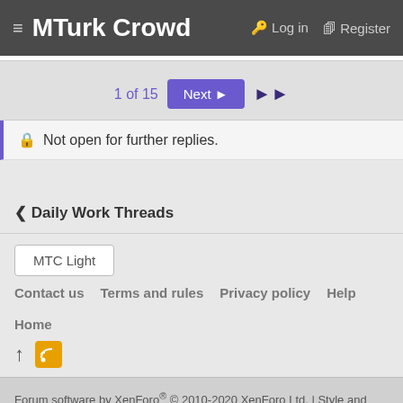MTurk Crowd  Log in  Register
1 of 15  Next ▶  ▶▶
🔒 Not open for further replies.
< Daily Work Threads
MTC Light
Contact us  Terms and rules  Privacy policy  Help  Home
Forum software by XenForo® © 2010-2020 XenForo Ltd. | Style and add-ons by ThemeHouse
XenForo Add-ons by PinoyTech